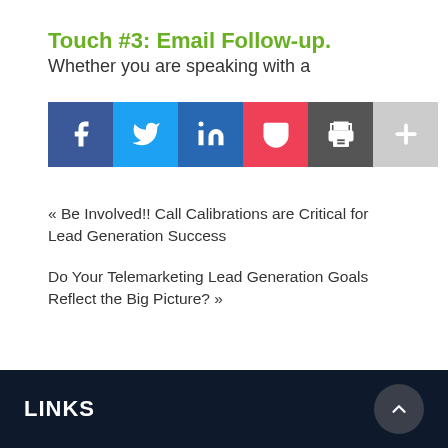Touch #3: Email Follow-up.
Whether you are speaking with a
[Figure (other): Social sharing buttons: Facebook, Twitter, LinkedIn, Pocket, Print, More (+)]
« Be Involved!! Call Calibrations are Critical for Lead Generation Success
Do Your Telemarketing Lead Generation Goals Reflect the Big Picture? »
LINKS